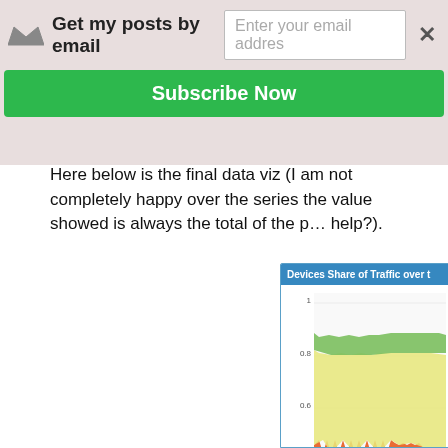[Figure (screenshot): Email subscription banner with crown icon, 'Get my posts by email' text, email input field, close button (x), and green 'Subscribe Now' button]
Here below is the final data viz (I am not completely happy over the series the value showed is always the total of the p… help?).
[Figure (area-chart): Stacked area chart showing devices share of traffic over time (Feb, Mar, Apr). Y-axis from 0 to 1. Shows orange area at bottom (~0 to 0.6), yellow/cream area in middle (~0.6 to 0.85), and green area at top (~0.85 to 1). Orange area shows jagged/spiky pattern around 0.6. X-axis label: Channel of Traff]